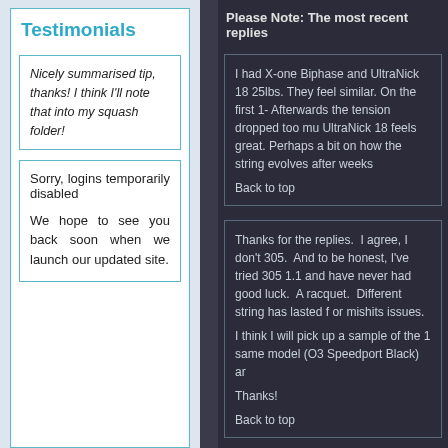Testimonials
Nicely summarised tip, thanks! I think I'll note that into my squash folder!
Sorry, logins temporarily disabled
We hope to see you back soon when we launch our updated site.
Please Note: The most recent replies
I had X-one Biphase and UltraNick 18 25lbs. They feel similar. On the first 1- Afterwards the tension dropped too mu UltraNick 18 feels great. Perhaps a bit on how the string evolves after weeks Back to top
Thanks for the replies.  I agree, I don't 305.  And to be honest, I've tried 305 1.1 and have never had good luck.  A racquet.  Different string has lasted f or mishits issues.
I think I will pick up a sample of the 1 same model (O3 Speedport Black) ar
Thanks!
Back to top
Adz
I gave the Ultranick a go recently but